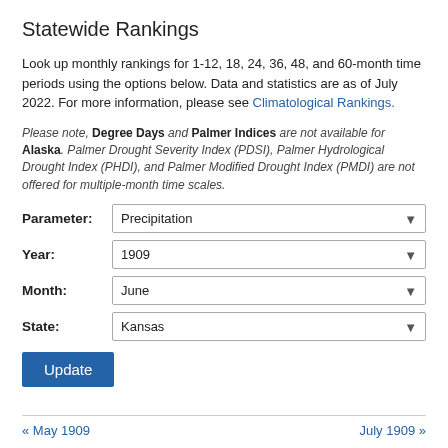Statewide Rankings
Look up monthly rankings for 1-12, 18, 24, 36, 48, and 60-month time periods using the options below. Data and statistics are as of July 2022. For more information, please see Climatological Rankings.
Please note, Degree Days and Palmer Indices are not available for Alaska. Palmer Drought Severity Index (PDSI), Palmer Hydrological Drought Index (PHDI), and Palmer Modified Drought Index (PMDI) are not offered for multiple-month time scales.
| Parameter | Precipitation |
| --- | --- |
| Year | 1909 |
| Month | June |
| State | Kansas |
Update
« May 1909    July 1909 »